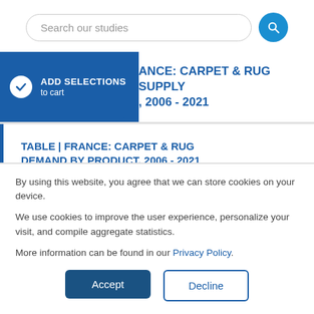[Figure (screenshot): Search bar with text 'Search our studies' and a blue circular search button with magnifying glass icon]
ADD SELECTIONS to cart
TABLE | FRANCE: CARPET & RUG SUPPLY, 2006 - 2021
TABLE | FRANCE: CARPET & RUG DEMAND BY PRODUCT, 2006 - 2021
TABLE | FRANCE: CARPET & RUG
By using this website, you agree that we can store cookies on your device.
We use cookies to improve the user experience, personalize your visit, and compile aggregate statistics.
More information can be found in our Privacy Policy.
Accept
Decline